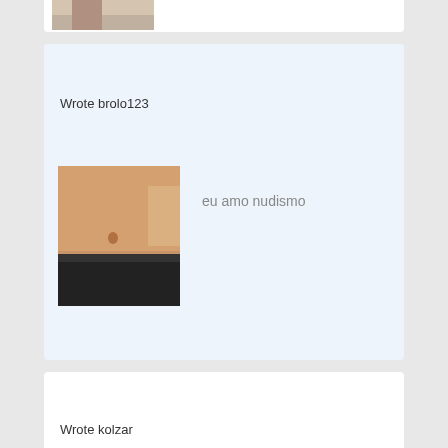[Figure (photo): Partial view of a photo at the top of the page, cut off]
Wrote brolo123
[Figure (photo): Photo of a person's torso in black underwear]
eu amo nudismo
Wrote kolzar
[Figure (illustration): Black and white illustration of a skull wearing goggles with a cigarette]
tiene buena polla. Y ella la chupa muy bien